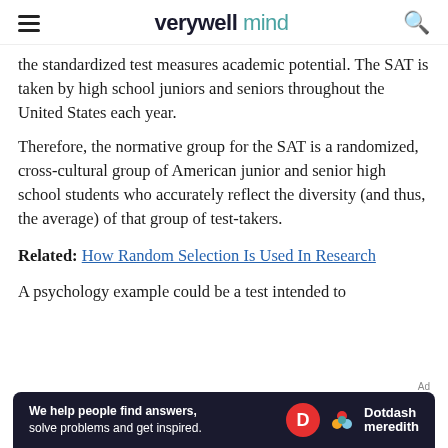verywell mind
the standardized test measures academic potential. The SAT is taken by high school juniors and seniors throughout the United States each year.
Therefore, the normative group for the SAT is a randomized, cross-cultural group of American junior and senior high school students who accurately reflect the diversity (and thus, the average) of that group of test-takers.
Related: How Random Selection Is Used In Research
A psychology example could be a test intended to
[Figure (infographic): Dotdash Meredith advertisement banner with text: We help people find answers, solve problems and get inspired.]